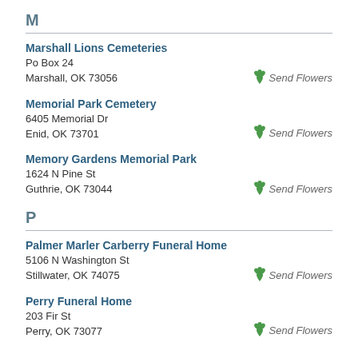M
Marshall Lions Cemeteries
Po Box 24
Marshall, OK 73056
Memorial Park Cemetery
6405 Memorial Dr
Enid, OK 73701
Memory Gardens Memorial Park
1624 N Pine St
Guthrie, OK 73044
P
Palmer Marler Carberry Funeral Home
5106 N Washington St
Stillwater, OK 74075
Perry Funeral Home
203 Fir St
Perry, OK 73077